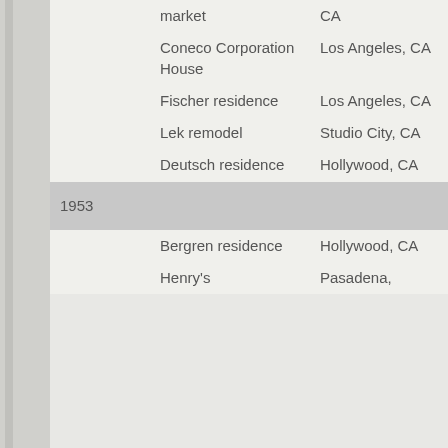| Year | Name | Location |  |
| --- | --- | --- | --- |
|  | market | CA |  |
|  | Coneco Corporation House | Los Angeles, CA |  |
|  | Fischer residence | Los Angeles, CA |  |
|  | Lek remodel | Studio City, CA |  |
|  | Deutsch residence | Hollywood, CA |  |
| 1953 |  |  |  |
|  | Bergren residence | Hollywood, CA |  |
|  | Henry's | Pasadena, |  |